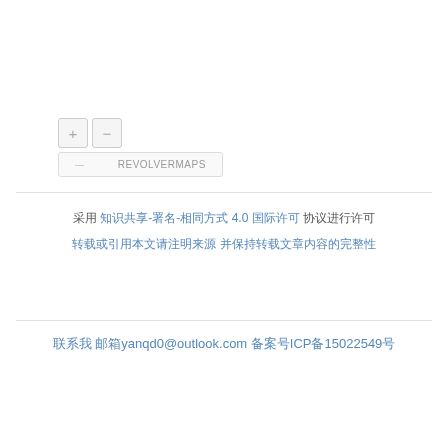[Figure (other): RevolverMaps widget with + and - zoom buttons and a label bar showing REVOLVERMAPS]
采用 知识共享-署名-相同方式 4.0 国际许可 协议进行许可
转载或引用本文请注明来源 并保持转载文章内容的完整性
联系我 邮箱yanqd0@outlook.com 备案号ICP备15022549号